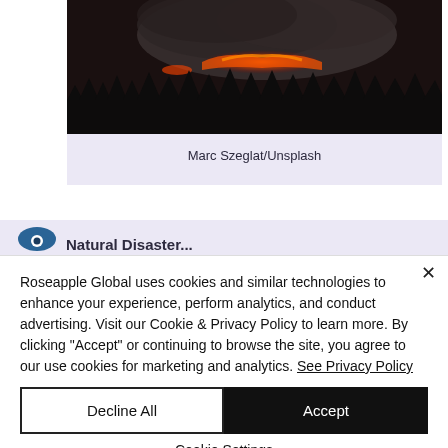[Figure (photo): Volcanic eruption at night with glowing lava and dark smoke clouds rising above a dark treeline skyline.]
Marc Szeglat/Unsplash
Natural Disaster...
Roseapple Global uses cookies and similar technologies to enhance your experience, perform analytics, and conduct advertising. Visit our Cookie & Privacy Policy to learn more. By clicking "Accept" or continuing to browse the site, you agree to our use cookies for marketing and analytics. See Privacy Policy
Decline All
Accept
Cookie Settings